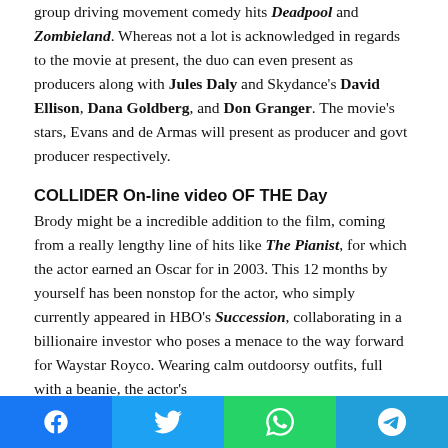group driving movement comedy hits Deadpool and Zombieland. Whereas not a lot is acknowledged in regards to the movie at present, the duo can even present as producers along with Jules Daly and Skydance's David Ellison, Dana Goldberg, and Don Granger. The movie's stars, Evans and de Armas will present as producer and govt producer respectively.
COLLIDER On-line video OF THE Day
Brody might be a incredible addition to the film, coming from a really lengthy line of hits like The Pianist, for which the actor earned an Oscar for in 2003. This 12 months by yourself has been nonstop for the actor, who simply currently appeared in HBO's Succession, collaborating in a billionaire investor who poses a menace to the way forward for Waystar Royco. Wearing calm outdoorsy outfits, full with a beanie, the actor's
[Figure (other): Social share bar with Facebook, Twitter, WhatsApp, and Telegram buttons]